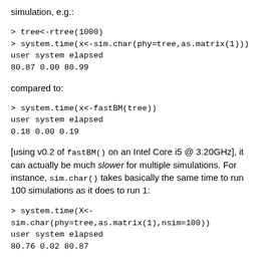simulation, e.g.:
> tree<-rtree(1000)
> system.time(x<-sim.char(phy=tree,as.matrix(1)))
user system elapsed
80.87 0.00 80.99
compared to:
> system.time(x<-fastBM(tree))
user system elapsed
0.18 0.00 0.19
[using v0.2 of fastBM() on an Intel Core i5 @ 3.20GHz], it can actually be much slower for multiple simulations. For instance, sim.char() takes basically the same time to run 100 simulations as it does to run 1:
> system.time(X<-
sim.char(phy=tree,as.matrix(1),nsim=100))
user system elapsed
80.76 0.02 80.87